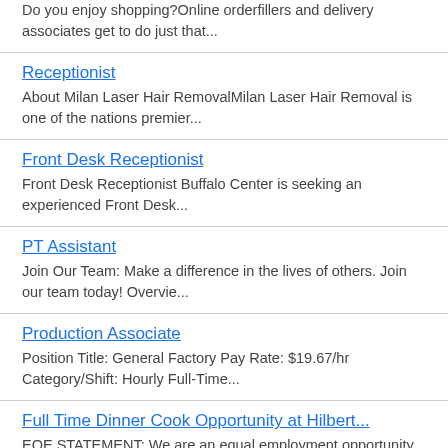Do you enjoy shopping?Online orderfillers and delivery associates get to do just that...
Receptionist
About Milan Laser Hair RemovalMilan Laser Hair Removal is one of the nations premier...
Front Desk Receptionist
Front Desk Receptionist Buffalo Center is seeking an experienced Front Desk...
PT Assistant
Join Our Team: Make a difference in the lives of others. Join our team today! Overvie...
Production Associate
Position Title: General Factory Pay Rate: $19.67/hr Category/Shift: Hourly Full-Time...
Full Time Dinner Cook Opportunity at Hilbert...
EOE STATEMENT: We are an equal employment opportunity employer. All qualified applica...